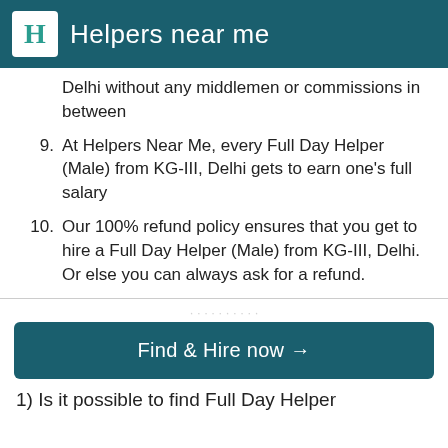Helpers near me
Delhi without any middlemen or commissions in between
9. At Helpers Near Me, every Full Day Helper (Male) from KG-III, Delhi gets to earn one's full salary
10. Our 100% refund policy ensures that you get to hire a Full Day Helper (Male) from KG-III, Delhi. Or else you can always ask for a refund.
Find & Hire now →
1) Is it possible to find Full Day Helper